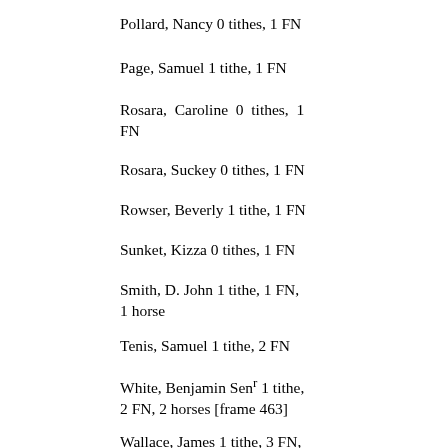Pollard, Nancy 0 tithes, 1 FN
Page, Samuel 1 tithe, 1 FN
Rosara, Caroline 0 tithes, 1 FN
Rosara, Suckey 0 tithes, 1 FN
Rowser, Beverly 1 tithe, 1 FN
Sunket, Kizza 0 tithes, 1 FN
Smith, D. John 1 tithe, 1 FN, 1 horse
Tenis, Samuel 1 tithe, 2 FN
White, Benjamin Senr 1 tithe, 2 FN, 2 horses [frame 463]
Wallace, James 1 tithe, 3 FN, 2 horses
White, Benjamin 1 tithe, 1